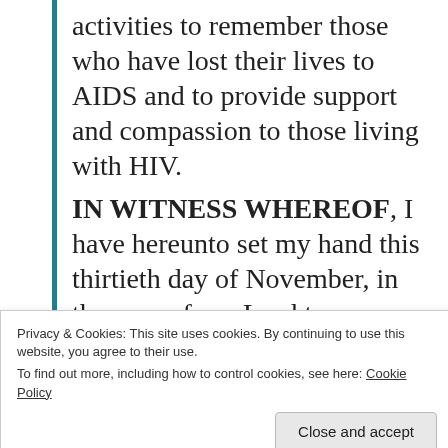activities to remember those who have lost their lives to AIDS and to provide support and compassion to those living with HIV.
IN WITNESS WHEREOF, I have hereunto set my hand this thirtieth day of November, in the year of our Lord two thousand fifteen, and of the Independence of the United States of America the two hundred and fortieth.
BARACK OBAMA
Privacy & Cookies: This site uses cookies. By continuing to use this website, you agree to their use.
To find out more, including how to control cookies, see here: Cookie Policy